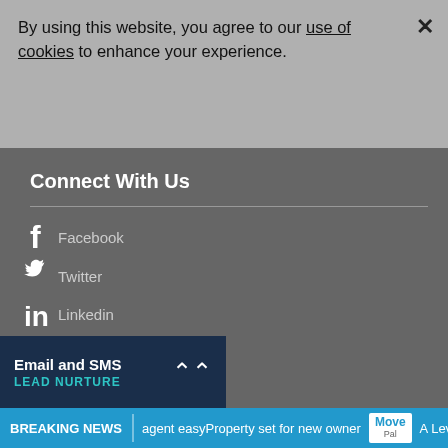By using this website, you agree to our use of cookies to enhance your experience.
Connect With Us
Facebook
Twitter
Linkedin
RSS
Contact Us
Your Name
Email and SMS LEAD NURTURE
BREAKING NEWS agent easyProperty set for new owner MovePal A Lev